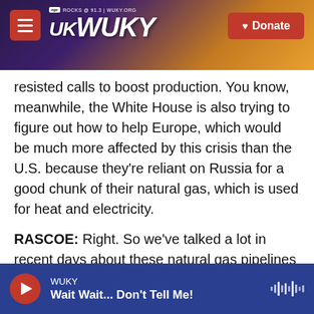WUKY | NPR ROCKS @ 91.3 | WUKY.ORG | Donate
resisted calls to boost production. You know, meanwhile, the White House is also trying to figure out how to help Europe, which would be much more affected by this crisis than the U.S. because they're reliant on Russia for a good chunk of their natural gas, which is used for heat and electricity.
RASCOE: Right. So we've talked a lot in recent days about these natural gas pipelines between Russia and Europe. So what can the U.S. do to help Europe if supplies get cut off?
DOMONOSKE: Yeah, it's interesting. The U.S. is now
WUKY | Wait Wait... Don't Tell Me!